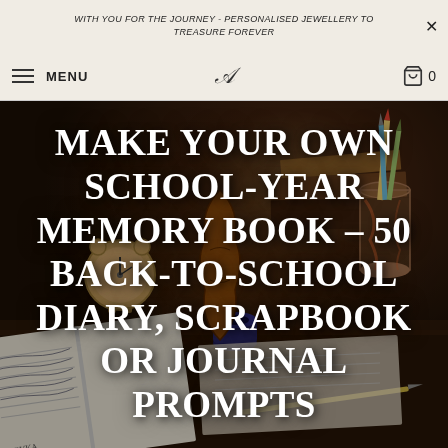WITH YOU FOR THE JOURNEY - PERSONALISED JEWELLERY TO TREASURE FOREVER
MENU
[Figure (photo): Dark-toned photograph of a wooden desk with school supplies: an open notebook with handwritten text, an old alarm clock, pencils in a glass holder, books, a violin, and an inkwell. Warm, moody lighting.]
MAKE YOUR OWN SCHOOL-YEAR MEMORY BOOK - 50 BACK-TO-SCHOOL DIARY, SCRAPBOOK OR JOURNAL PROMPTS